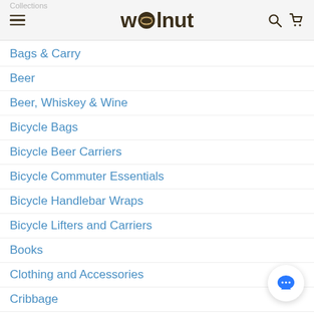Collections — wolnut
Bags & Carry
Beer
Beer, Whiskey & Wine
Bicycle Bags
Bicycle Beer Carriers
Bicycle Commuter Essentials
Bicycle Handlebar Wraps
Bicycle Lifters and Carriers
Books
Clothing and Accessories
Cribbage
Cycling
Document Rolls